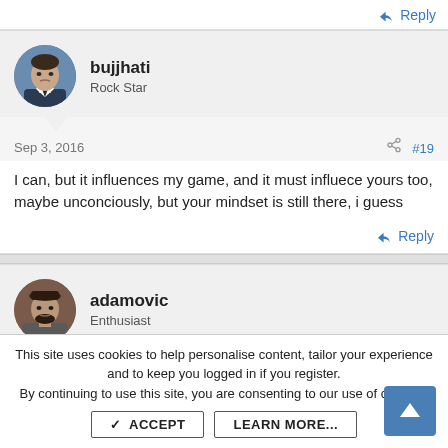↩ Reply
bujjhati
Rock Star
Sep 3, 2016
#19
I can, but it influences my game, and it must influece yours too, maybe unconciously, but your mindset is still there, i guess
↩ Reply
adamovic
Enthusiast
This site uses cookies to help personalise content, tailor your experience and to keep you logged in if you register.
By continuing to use this site, you are consenting to our use of cookies.
✓ ACCEPT
LEARN MORE...